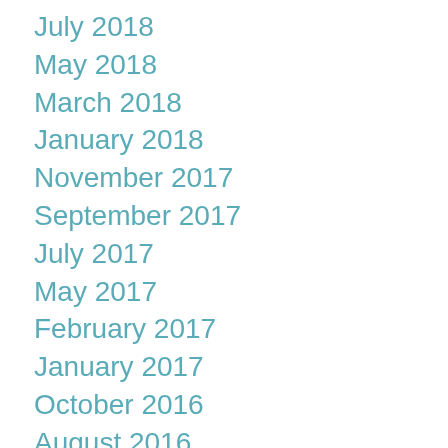July 2018
May 2018
March 2018
January 2018
November 2017
September 2017
July 2017
May 2017
February 2017
January 2017
October 2016
August 2016
July 2016
April 2016
March 2016
January 2016
October 2015
September 2015